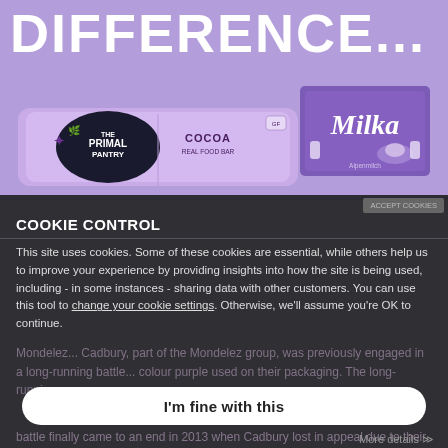DIFFERENCE...
[Figure (photo): The Primal Pantry Cocoa Real Food Bar and Milka chocolate bar side by side on a purple background]
COOKIE CONTROL
This site uses cookies. Some of these cookies are essential, while others help us to improve your experience by providing insights into how the site is being used, including - in some instances - sharing data with other customers. You can use this tool to change your cookie settings. Otherwise, we'll assume you're OK to continue.
I'm fine with this
Mondelez... Cadbury, part of the Mondelez group, was previously engaged in a long-running battle... colour purple used on their packaging. The long-running battle finally came to an end in 2013 when Cadbury lost in appeal due to their application lacking clarity, precision,
More details